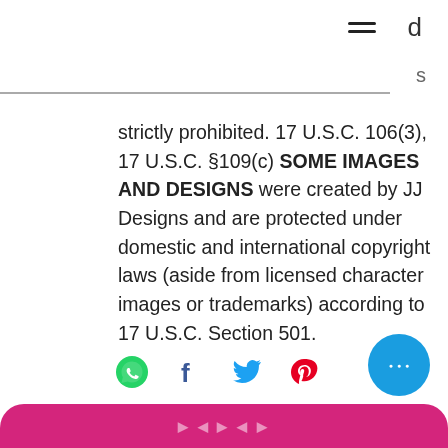strictly prohibited. 17 U.S.C. 106(3), 17 U.S.C. §109(c) SOME IMAGES AND DESIGNS were created by JJ Designs and are protected under domestic and international copyright laws (aside from licensed character images or trademarks) according to 17 U.S.C. Section 501.
[Figure (infographic): Social share icons: WhatsApp (green), Facebook (blue f), Twitter (blue bird), Pinterest (pink P), and a blue circular more-options button with three dots. A pink/magenta rounded button bar at the bottom.]